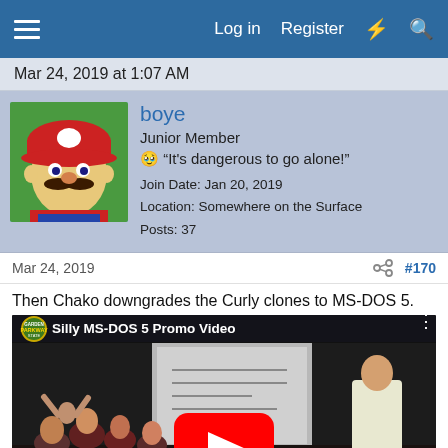Log in  Register
Mar 24, 2019 at 1:07 AM
boye
Junior Member
🗡️ "It's dangerous to go alone!"
Join Date: Jan 20, 2019
Location: Somewhere on the Surface
Posts: 37
Mar 24, 2019  #170
Then Chako downgrades the Curly clones to MS-DOS 5.
[Figure (screenshot): Embedded YouTube video thumbnail titled 'Silly MS-DOS 5 Promo Video' showing people in a classroom-like setting with a projection screen, with a YouTube play button in the center.]